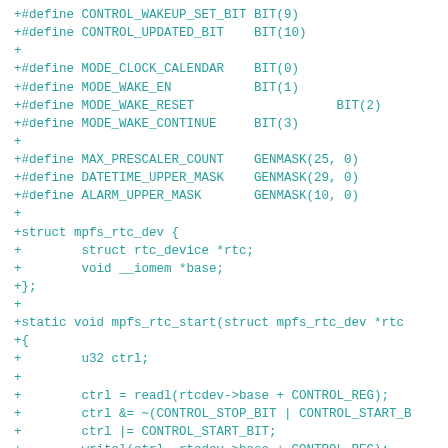[Figure (screenshot): Source code diff showing C header definitions and struct/function declarations for an MPFS RTC driver, displayed in monospace teal/cyan text on white background. Includes #define macros for CONTROL_WAKEUP_SET_BIT, CONTROL_UPDATED_BIT, MODE_CLOCK_CALENDAR, MODE_WAKE_EN, MODE_WAKE_RESET, MODE_WAKE_CONTINUE, MAX_PRESCALER_COUNT, DATETIME_UPPER_MASK, ALARM_UPPER_MASK, struct mpfs_rtc_dev, and static void functions mpfs_rtc_start and mpfs_rtc_clear_irq.]